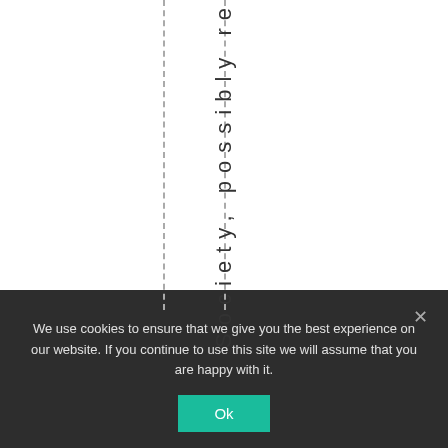Society, possibly re
We use cookies to ensure that we give you the best experience on our website. If you continue to use this site we will assume that you are happy with it.